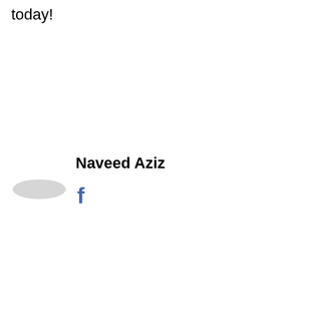today!
Naveed Aziz
[Figure (illustration): Gray oval/ellipse shape representing a profile picture placeholder, with a Facebook 'f' icon below in blue]